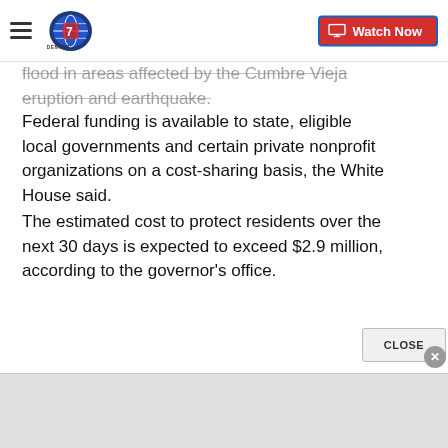DENVER7 — Watch Now
…flood in areas affected by the Cumbre Vieja eruption and earthquake.
Federal funding is available to state, eligible local governments and certain private nonprofit organizations on a cost-sharing basis, the White House said.
The estimated cost to protect residents over the next 30 days is expected to exceed $2.9 million, according to the governor's office.
[The...